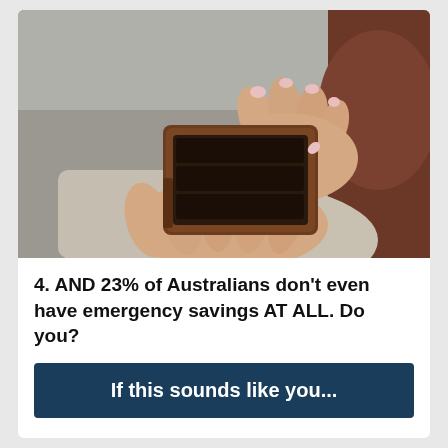[Figure (photo): Close-up photograph of a person's hands holding an open empty brown leather wallet, wearing a grey coat sleeve, with a blurred background.]
4. AND 23% of Australians don't even have emergency savings AT ALL. Do you?
If this sounds like you...